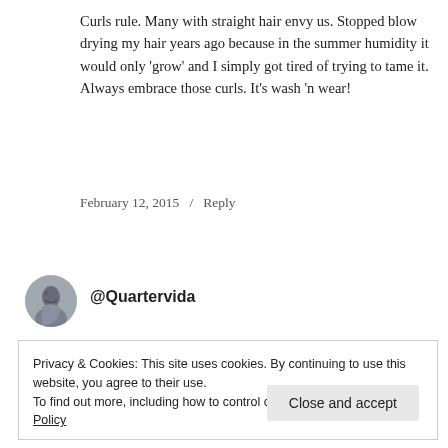Curls rule. Many with straight hair envy us. Stopped blow drying my hair years ago because in the summer humidity it would only 'grow' and I simply got tired of trying to tame it. Always embrace those curls. It's wash 'n wear!
February 12, 2015  /  Reply
@Quartervida
Privacy & Cookies: This site uses cookies. By continuing to use this website, you agree to their use.
To find out more, including how to control cookies, see here: Cookie Policy
Close and accept